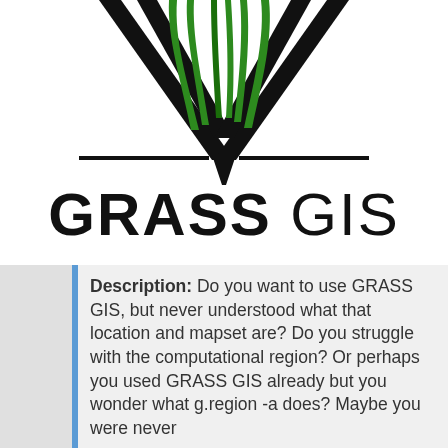[Figure (logo): GRASS GIS logo: green grass blades rising from a black chevron/arrow shape pointing downward, with a horizontal line beneath. Below the logo graphic is the text 'GRASS GIS' in heavy black lettering.]
Description: Do you want to use GRASS GIS, but never understood what that location and mapset are? Do you struggle with the computational region? Or perhaps you used GRASS GIS already but you wonder what g.region -a does? Maybe you were never